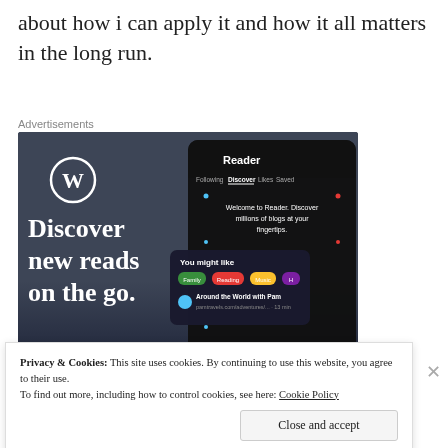about how i can apply it and how it all matters in the long run.
Advertisements
[Figure (screenshot): WordPress advertisement showing 'Discover new reads on the go.' with a dark blue-grey background, WordPress logo, and a phone screenshot of the WordPress Reader app displaying tabs: Following, Discover, Likes, Saved, with 'You might like' section showing tags: Family, Reading, Music, and a blog post 'Around the World with Pam'.]
Privacy & Cookies: This site uses cookies. By continuing to use this website, you agree to their use.
To find out more, including how to control cookies, see here: Cookie Policy
Close and accept